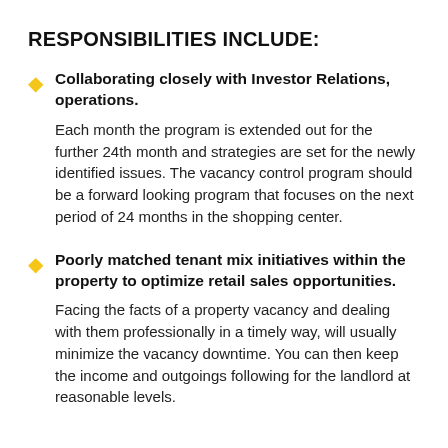RESPONSIBILITIES INCLUDE:
Collaborating closely with Investor Relations, operations.

Each month the program is extended out for the further 24th month and strategies are set for the newly identified issues. The vacancy control program should be a forward looking program that focuses on the next period of 24 months in the shopping center.
Poorly matched tenant mix initiatives within the property to optimize retail sales opportunities.

Facing the facts of a property vacancy and dealing with them professionally in a timely way, will usually minimize the vacancy downtime. You can then keep the income and outgoings following for the landlord at reasonable levels.